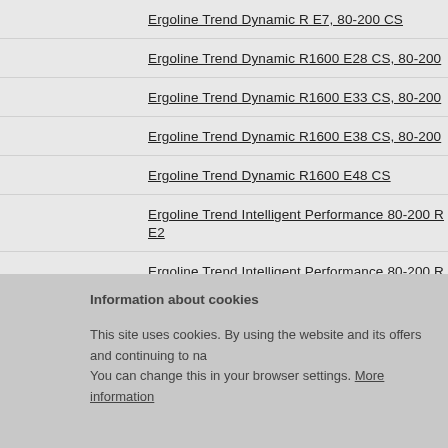Ergoline Trend Dynamic R E7, 80-200 CS
Ergoline Trend Dynamic R1600 E28 CS, 80-200
Ergoline Trend Dynamic R1600 E33 CS, 80-200
Ergoline Trend Dynamic R1600 E38 CS, 80-200
Ergoline Trend Dynamic R1600 E48 CS
Ergoline Trend Intelligent Performance 80-200 R E2
Ergoline Trend Intelligent Performance 80-200 R E3
Ergoline Trend Intelligent Performance 80-200 R E6
Ergoline Trend Intelligent Performance R E1 CS
Ergoline Trend R E1
Ergoline Trend R E10 CS
Ergoline Trend R E11 CS
Information about cookies
This site uses cookies. By using the website and its offers and continuing to na... You can change this in your browser settings. More information